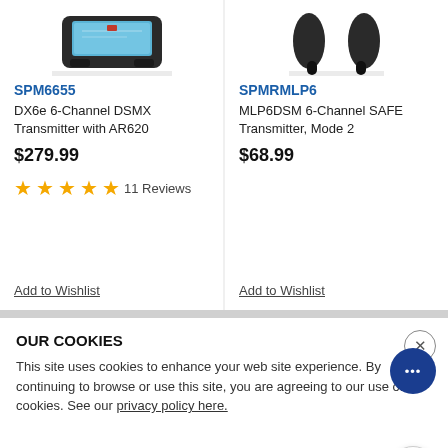[Figure (photo): RC transmitter product image for SPM6655, top portion cut off]
SPM6655
DX6e 6-Channel DSMX Transmitter with AR620
$279.99
★★★★★ 11 Reviews
Add to Wishlist
[Figure (photo): RC transmitter product image for SPMRMLP6, top portion cut off showing legs/feet]
SPMRMLP6
MLP6DSM 6-Channel SAFE Transmitter, Mode 2
$68.99
Add to Wishlist
OUR COOKIES
This site uses cookies to enhance your web site experience. By continuing to browse or use this site, you are agreeing to our use of cookies. See our privacy policy here.
ACCEPT COOKIES
Same Day Shipping
Free Shipping